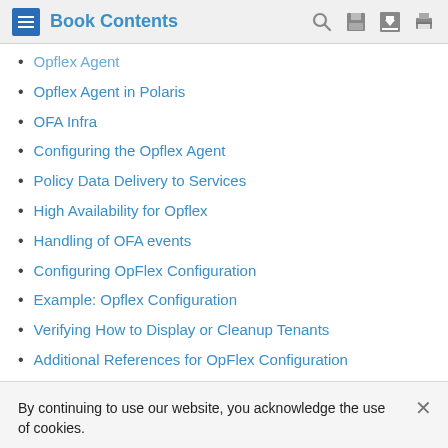Book Contents
Opflex Agent
Opflex Agent in Polaris
OFA Infra
Configuring the Opflex Agent
Policy Data Delivery to Services
High Availability for Opflex
Handling of OFA events
Configuring OpFlex Configuration
Example: Opflex Configuration
Verifying How to Display or Cleanup Tenants
Additional References for OpFlex Configuration
By continuing to use our website, you acknowledge the use of cookies.
Privacy Statement > Change Settings >